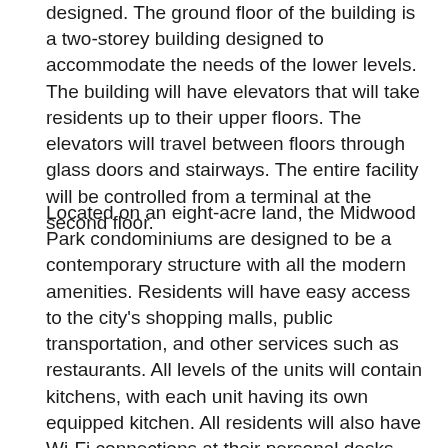designed. The ground floor of the building is a two-storey building designed to accommodate the needs of the lower levels. The building will have elevators that will take residents up to their upper floors. The elevators will travel between floors through glass doors and stairways. The entire facility will be controlled from a terminal at the second floor.
Located on an eight-acre land, the Midwood Park condominiums are designed to be a contemporary structure with all the modern amenities. Residents will have easy access to the city's shopping malls, public transportation, and other services such as restaurants. All levels of the units will contain kitchens, with each unit having its own equipped kitchen. All residents will also have Wi-Fi connections at their personal desks. The second-storey unit will have a single detached bedroom with a private terrace.